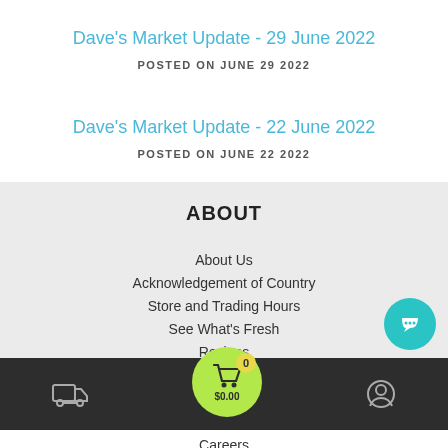Dave's Market Update - 29 June 2022
POSTED ON JUNE 29 2022
Dave's Market Update - 22 June 2022
POSTED ON JUNE 22 2022
ABOUT
About Us
Acknowledgement of Country
Store and Trading Hours
See What's Fresh
Recipes
Rate Your Local Store
Sustainability
Blog
Careers
Delivery | Cart $0.00 (0 items) | Account